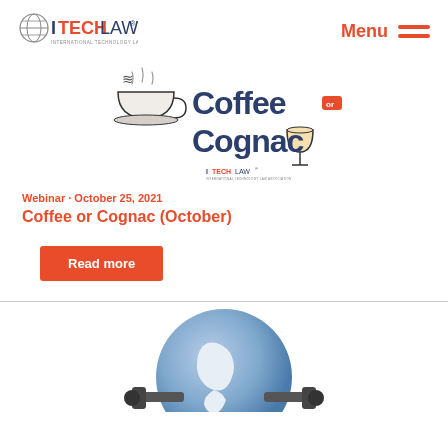ITECHLAW® — International Technology Law Association | Menu
[Figure (logo): Coffee or Cognac logo with coffee cup icon and ITechLaw wordmark]
Webinar · October 25, 2021
Coffee or Cognac (October)
Read more
[Figure (illustration): 3D illustration of a globe (Earth showing Americas) with robotic/mechanical arms around it]